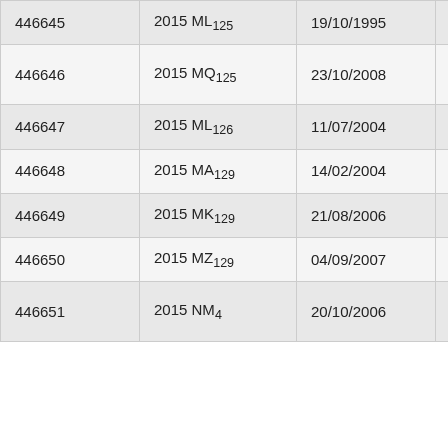| 446645 | 2015 ML125 | 19/10/1995 | Kitt Peak |
| 446646 | 2015 MQ125 | 23/10/2008 | Mount Lemmon |
| 446647 | 2015 ML126 | 11/07/2004 | Socorro |
| 446648 | 2015 MA129 | 14/02/2004 | Kitt Peak |
| 446649 | 2015 MK129 | 21/08/2006 | Kitt Peak |
| 446650 | 2015 MZ129 | 04/09/2007 | Catalina |
| 446651 | 2015 NM4 | 20/10/2006 | Mount Lemmon |